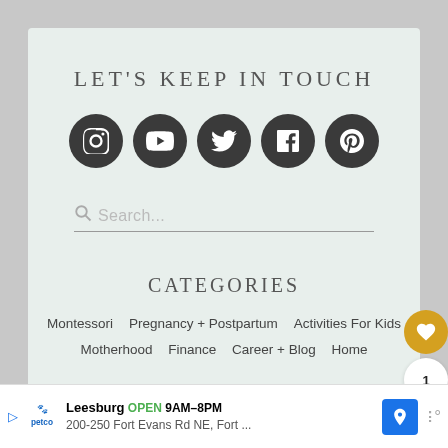LET'S KEEP IN TOUCH
[Figure (illustration): Five dark circular social media icon buttons: Instagram, YouTube, Twitter, Facebook, Pinterest]
Search...
CATEGORIES
Montessori   Pregnancy + Postpartum   Activities For Kids
Motherhood   Finance   Career + Blog   Home
Leesburg OPEN 9AM–8PM 200-250 Fort Evans Rd NE, Fort ...